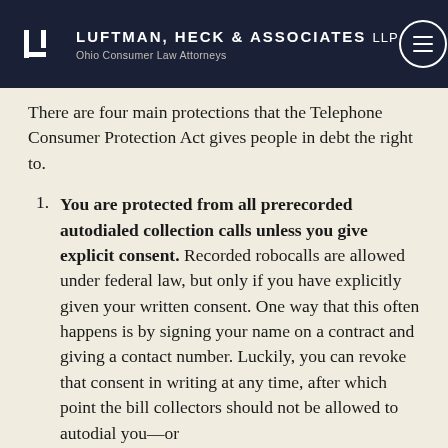Luftman, Heck & Associates LLP — Ohio Consumer Law Attorneys
There are four main protections that the Telephone Consumer Protection Act gives people in debt the right to.
You are protected from all prerecorded autodialed collection calls unless you give explicit consent. Recorded robocalls are allowed under federal law, but only if you have explicitly given your written consent. One way that this often happens is by signing your name on a contract and giving a contact number. Luckily, you can revoke that consent in writing at any time, after which point the bill collectors should not be allowed to autodial you—or